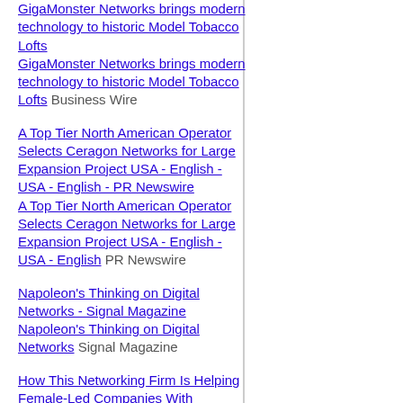GigaMonster Networks brings modern technology to historic Model Tobacco Lofts - Business Wire | GigaMonster Networks brings modern technology to historic Model Tobacco Lofts  Business Wire
A Top Tier North American Operator Selects Ceragon Networks for Large Expansion Project USA - English - USA - English - PR Newswire | A Top Tier North American Operator Selects Ceragon Networks for Large Expansion Project USA - English - USA - English  PR Newswire
Napoleon's Thinking on Digital Networks - Signal Magazine | Napoleon's Thinking on Digital Networks  Signal Magazine
How This Networking Firm Is Helping Female-Led Companies With Investment Opportunities - Allwork.Space | How This Networking Firm Is Helping Female-Led Companies With Investment Opportunities  Allwork.Space